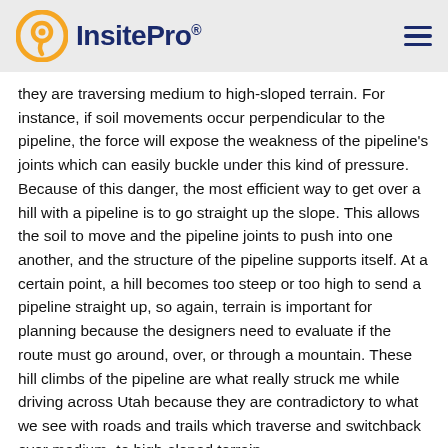InsitePro
they are traversing medium to high-sloped terrain. For instance, if soil movements occur perpendicular to the pipeline, the force will expose the weakness of the pipeline's joints which can easily buckle under this kind of pressure. Because of this danger, the most efficient way to get over a hill with a pipeline is to go straight up the slope. This allows the soil to move and the pipeline joints to push into one another, and the structure of the pipeline supports itself. At a certain point, a hill becomes too steep or too high to send a pipeline straight up, so again, terrain is important for planning because the designers need to evaluate if the route must go around, over, or through a mountain. These hill climbs of the pipeline are what really struck me while driving across Utah because they are contradictory to what we see with roads and trails which traverse and switchback over medium- to high-sloped terrain.